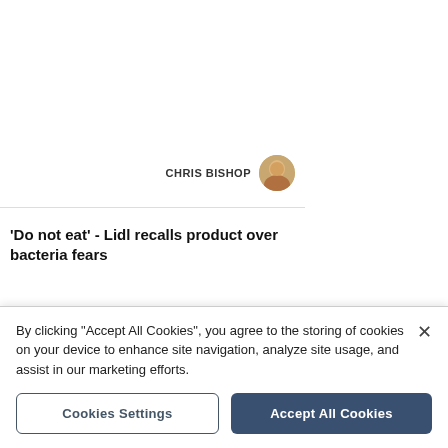[Figure (photo): Landscape photo of a park or lake with trees and water reflection]
CHRIS BISHOP
[Figure (photo): Lidl supermarket blue sign with yellow circle logo]
'Do not eat' - Lidl recalls product over bacteria fears
OWEN SENNITT
[Figure (photo): Police officer wearing black and white checkered hat]
UPDATED
Sixty-year-old woman missing from
By clicking "Accept All Cookies", you agree to the storing of cookies on your device to enhance site navigation, analyze site usage, and assist in our marketing efforts.
Cookies Settings
Accept All Cookies